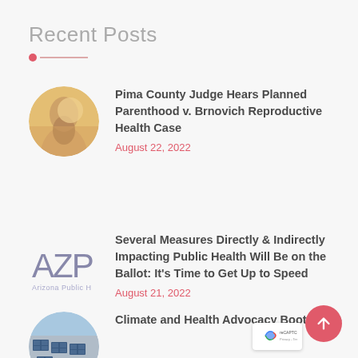Recent Posts
Pima County Judge Hears Planned Parenthood v. Brnovich Reproductive Health Case
August 22, 2022
Several Measures Directly & Indirectly Impacting Public Health Will Be on the Ballot: It's Time to Get Up to Speed
August 21, 2022
Climate and Health Advocacy Boot Camp